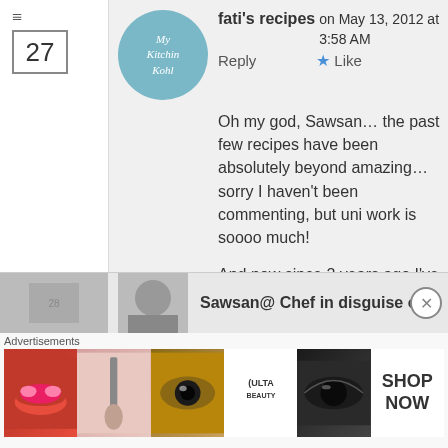27
[Figure (illustration): Circular avatar logo with teal/blue background and cursive text reading 'My Kitchin Kohl']
fati's recipes on May 13, 2012 at 3:58 AM   Reply   ★ Like
Oh my god, Sawsan… the past few recipes have been absolutely beyond amazing… sorry I haven't been commenting, but uni work is soooo much!

And now since 2 years ago I've wanted a recipe for Nabulsi cheese so that I can make Nabulseeyah at home! Thank you, darling… I love youuuuu 😀
Sawsan@ Chef in disguise on
Advertisements
[Figure (photo): Ulta Beauty advertisement banner showing makeup images including lips, brush, eye makeup, Ulta logo, and SHOP NOW text]